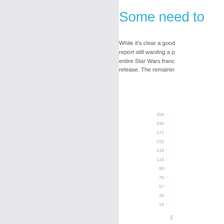Some need to
While it's clear a good report still wanting a p entire Star Wars franc release. The remainin
[Figure (bar-chart): ]